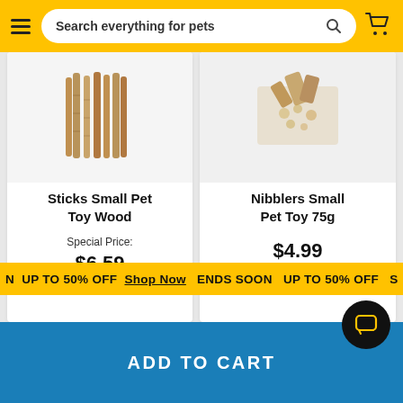Search everything for pets
UP TO 50% OFF  Shop Now  ENDS SOON  UP TO 50% OFF  S
Sticks Small Pet Toy Wood
Special Price: $6.59
40% off
Nibblers Small Pet Toy 75g
$4.99
ADD TO CART